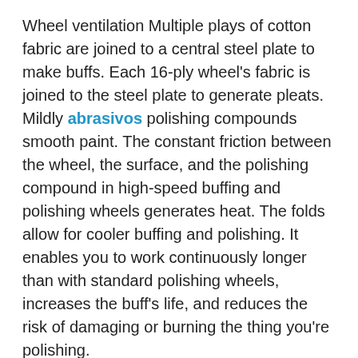Wheel ventilation Multiple plays of cotton fabric are joined to a central steel plate to make buffs. Each 16-ply wheel's fabric is joined to the steel plate to generate pleats. Mildly abrasivos polishing compounds smooth paint. The constant friction between the wheel, the surface, and the polishing compound in high-speed buffing and polishing wheels generates heat. The folds allow for cooler buffing and polishing. It enables you to work continuously longer than with standard polishing wheels, increases the buff's life, and reduces the risk of damaging or burning the thing you're polishing.
Wheel Ventilation Coloring Wheels:
Ventilated wheel buffs don't come in your preferred color. Each color has varying cloth